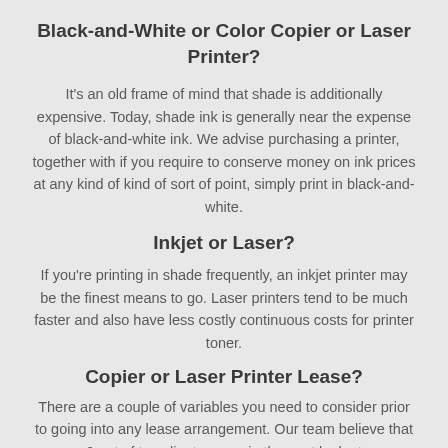Black-and-White or Color Copier or Laser Printer?
It's an old frame of mind that shade is additionally expensive. Today, shade ink is generally near the expense of black-and-white ink. We advise purchasing a printer, together with if you require to conserve money on ink prices at any kind of kind of sort of point, simply print in black-and-white.
Inkjet or Laser?
If you're printing in shade frequently, an inkjet printer may be the finest means to go. Laser printers tend to be much faster and also have less costly continuous costs for printer toner.
Copier or Laser Printer Lease?
There are a couple of variables you need to consider prior to going into any lease arrangement. Our team believe that 9 out of ten clients never in the past look at